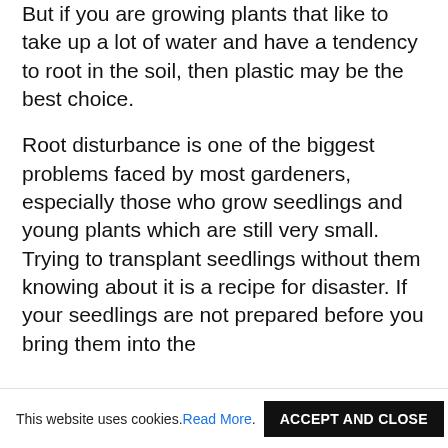But if you are growing plants that like to take up a lot of water and have a tendency to root in the soil, then plastic may be the best choice.
Root disturbance is one of the biggest problems faced by most gardeners, especially those who grow seedlings and young plants which are still very small. Trying to transplant seedlings without them knowing about it is a recipe for disaster. If your seedlings are not prepared before you bring them into the
This website uses cookies. Read More . ACCEPT AND CLOSE